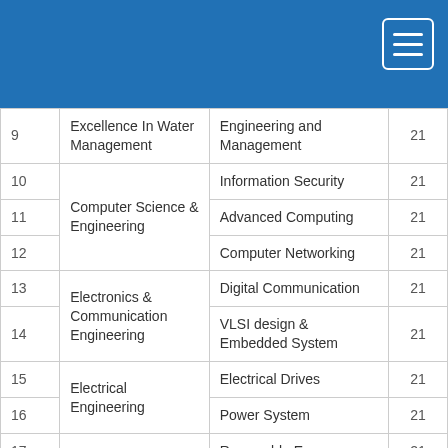| # | Department | Specialization | Seats |
| --- | --- | --- | --- |
| 9 | Excellence In Water Management | Engineering and Management | 21 |
| 10 | Computer Science & Engineering | Information Security | 21 |
| 11 | Computer Science & Engineering | Advanced Computing | 21 |
| 12 | Computer Science & Engineering | Computer Networking | 21 |
| 13 | Electronics & Communication Engineering | Digital Communication | 21 |
| 14 | Electronics & Communication Engineering | VLSI design & Embedded System | 21 |
| 15 | Electrical Engineering | Electrical Drives | 21 |
| 16 | Electrical Engineering | Power System | 21 |
| 17 | Energy Centre | Renewable Energy | 21 |
| 18 | Energy Centre | Energy System Management | 21 |
| 19 | Materials & Metallurgical | Material Science & | 21 |